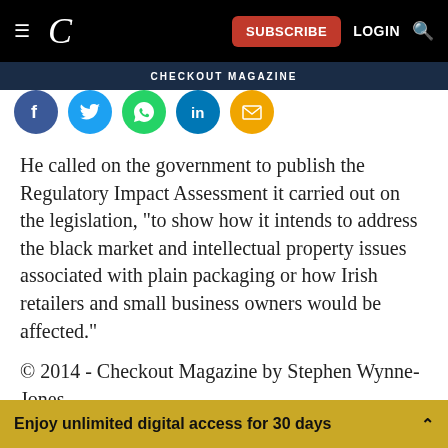CHECKOUT MAGAZINE — navigation bar with subscribe button
[Figure (screenshot): Social media share icons: Facebook (blue), Twitter (light blue), WhatsApp (green), LinkedIn (blue), Email (yellow/orange)]
He called on the government to publish the Regulatory Impact Assessment it carried out on the legislation, "to show how it intends to address the black market and intellectual property issues associated with plain packaging or how Irish retailers and small business owners would be affected."
© 2014 - Checkout Magazine by Stephen Wynne-Jones
Enjoy unlimited digital access for 30 days